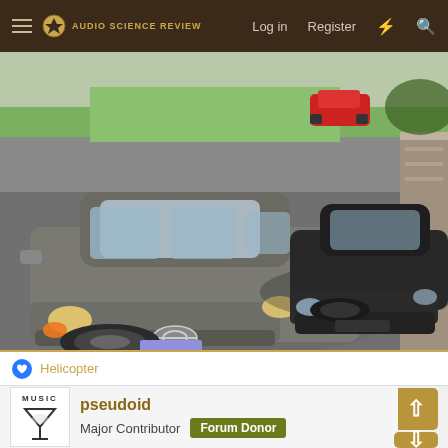Audio Science Review — Log in  Register
[Figure (photo): Overhead/angled view of two cars parked in a driveway: a gray Toyota RAV4 SUV in the foreground (left) and a black Nissan sedan in the background (right). A red car is partially visible on the street in the upper background. Green grass, pavement, and stone pillar visible.]
Helicopter
pseudoid
Major Contributor  Forum Donor